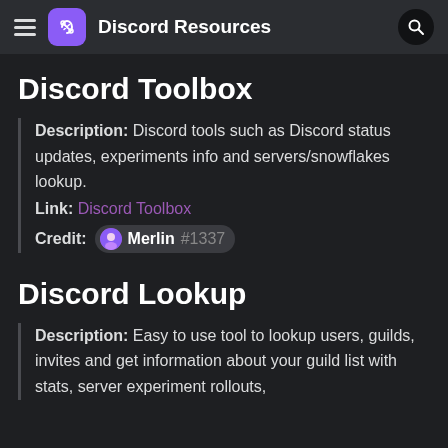Discord Resources
Discord Toolbox
Description: Discord tools such as Discord status updates, experiments info and servers/snowflakes lookup.
Link: Discord Toolbox
Credit: Merlin#1337
Discord Lookup
Description: Easy to use tool to lookup users, guilds, invites and get information about your guild list with stats, server experiment rollouts,